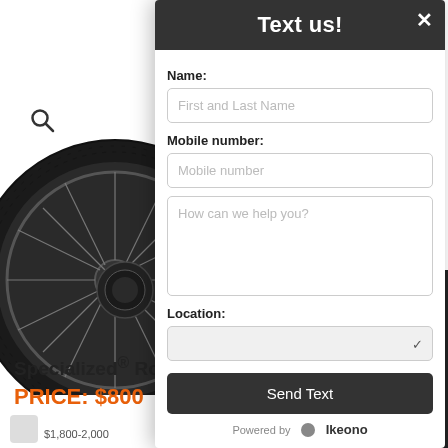[Figure (screenshot): Background website showing a bicycle (mountain bike wheel) product page with search icon, hamburger menu, product name 'Specialized® Ro...', price 'PRICE: $800']
Text us!
Name:
First and Last Name
Mobile number:
Mobile number
How can we help you?
Location:
Send Text
Powered by  Ikeono